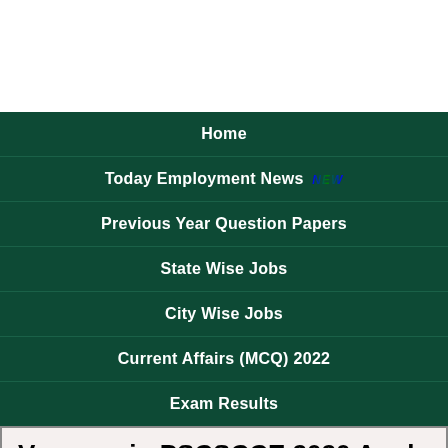Home
Today Employment News NEW
Previous Year Question Papers
State Wise Jobs
City Wise Jobs
Current Affairs (MCQ) 2022
Exam Results
Vacancy in PSCSCCE 2020 Apply Online www.ppsc.gov.in (77) Deputy Superintendent of Police – Tehsildar